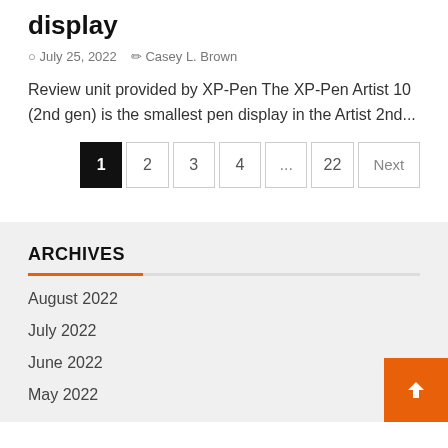display
July 25, 2022   Casey L. Brown
Review unit provided by XP-Pen The XP-Pen Artist 10 (2nd gen) is the smallest pen display in the Artist 2nd...
Pagination: 1 (active), 2, 3, 4, ..., 22, Next
ARCHIVES
August 2022
July 2022
June 2022
May 2022